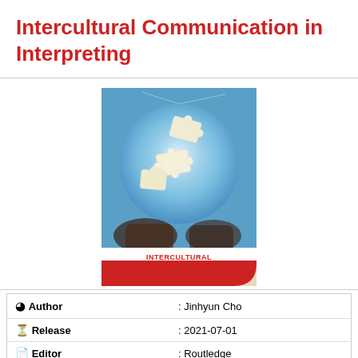Intercultural Communication in Interpreting
[Figure (illustration): Book cover of 'Intercultural Communication in Interpreting: Power and Choices' by Jinhyun Cho, showing puzzle pieces over a glowing globe with hands, with a red author bar at the bottom.]
| Author | : Jinhyun Cho |
| Release | : 2021-07-01 |
| Editor | : Routledge |